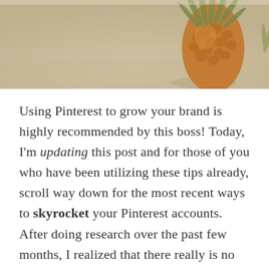[Figure (photo): Photo of a pineapple resting on sandy beach surface, cropped to show the bottom portion of the pineapple and sandy background, warm tan and beige tones]
Using Pinterest to grow your brand is highly recommended by this boss! Today, I'm updating this post and for those of you who have been utilizing these tips already, scroll way down for the most recent ways to skyrocket your Pinterest accounts. After doing research over the past few months, I realized that there really is no need to try and push getting followers. Sure, you'd like to have some but chasing them is not necessary. Learn how you can make money on Pinterest too, you won't be sorry.